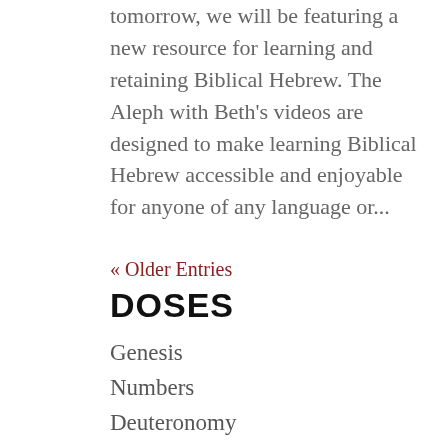tomorrow, we will be featuring a new resource for learning and retaining Biblical Hebrew. The Aleph with Beth's videos are designed to make learning Biblical Hebrew accessible and enjoyable for anyone of any language or...
« Older Entries
DOSES
Genesis
Numbers
Deuteronomy
Ruth
Samuel